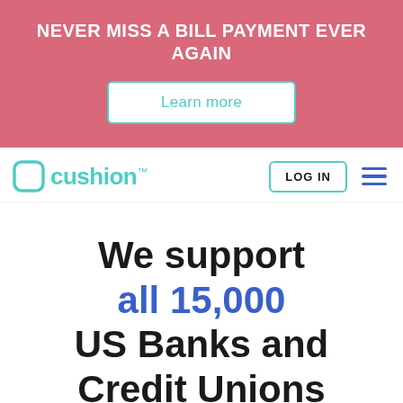NEVER MISS A BILL PAYMENT EVER AGAIN
Learn more
[Figure (logo): Cushion logo with teal rounded square icon and teal wordmark 'cushion' with trademark symbol]
LOG IN
We support all 15,000 US Banks and Credit Unions